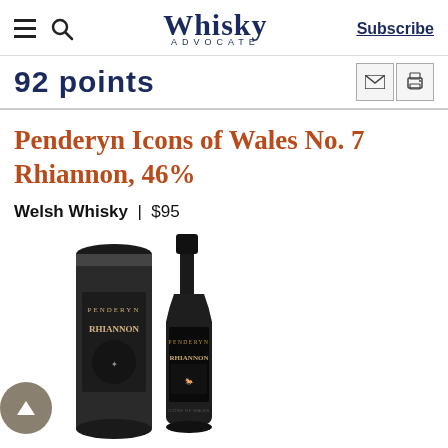Whisky Advocate | Subscribe
92 points
Penderyn Icons of Wales No. 7 Rhiannon, 46%
Welsh Whisky | $95
[Figure (photo): Penderyn Icons of Wales No. 7 Rhiannon whisky bottle and cylindrical tube packaging, both featuring black label with illustrated horse-and-rider Rhiannon artwork]